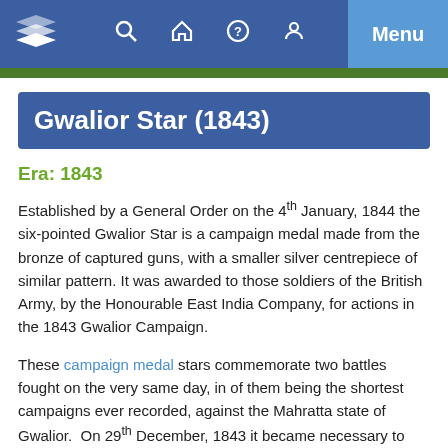Gwalior Star (1843) — navigation bar with logo, search, home, help, user icons, and Menu button
Gwalior Star (1843)
Era: 1843
Established by a General Order on the 4th January, 1844 the six-pointed Gwalior Star is a campaign medal made from the bronze of captured guns, with a smaller silver centrepiece of similar pattern. It was awarded to those soldiers of the British Army, by the Honourable East India Company, for actions in the 1843 Gwalior Campaign.
These campaign medal stars commemorate two battles fought on the very same day, in of them being the shortest campaigns ever recorded, against the Mahratta state of Gwalior.  On 29th December, 1843 it became necessary to cross the border where the first division of the army, under Sir Hugh Gough found some 18,000